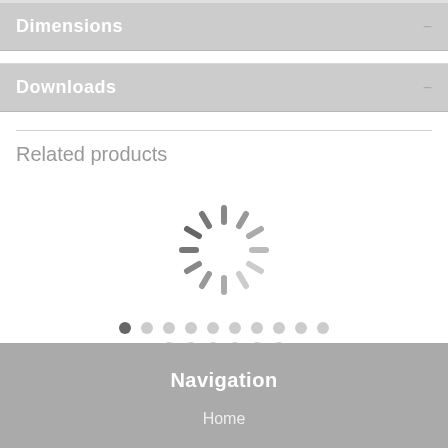Dimensions
Downloads
Related products
[Figure (other): Loading spinner animation with rotating dashes in a circular pattern, shown in gray]
Navigation
Home